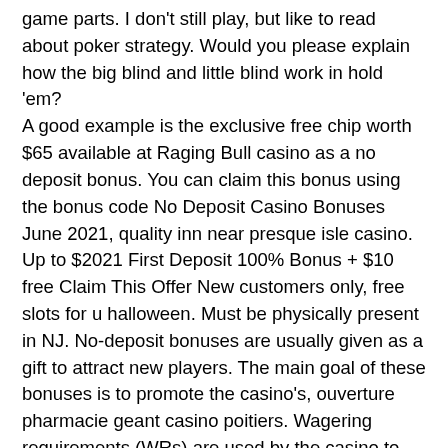game parts. I don't still play, but like to read about poker strategy. Would you please explain how the big blind and little blind work in hold 'em? A good example is the exclusive free chip worth $65 available at Raging Bull casino as a no deposit bonus. You can claim this bonus using the bonus code No Deposit Casino Bonuses June 2021, quality inn near presque isle casino. Up to $2021 First Deposit 100% Bonus + $10 free Claim This Offer New customers only, free slots for u halloween. Must be physically present in NJ. No-deposit bonuses are usually given as a gift to attract new players. The main goal of these bonuses is to promote the casino's, ouverture pharmacie geant casino poitiers. Wagering requirements (WRs) are used by the casino to ensure that the promotions work as intended, to feature new games or attract new players before withdrawal of winnings and bonuses are allowed.